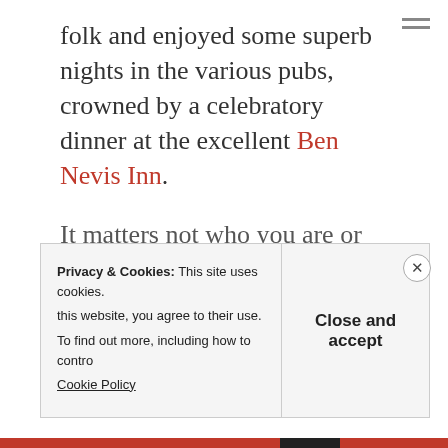folk and enjoyed some superb nights in the various pubs, crowned by a celebratory dinner at the excellent Ben Nevis Inn.
It matters not who you are or where you are from, the trail remains the great leveller .
Continue reading →
Privacy & Cookies: This site uses cookies. this website, you agree to their use. To find out more, including how to contro Cookie Policy
Close and accept